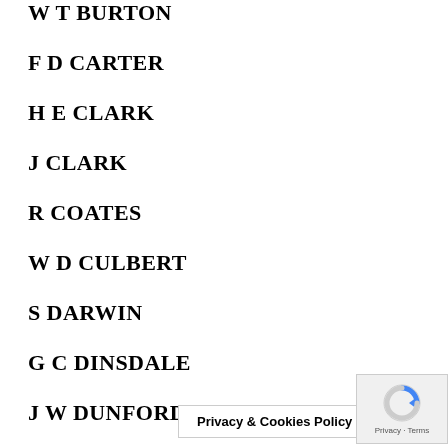W T BURTON
F D CARTER
H E CLARK
J CLARK
R COATES
W D CULBERT
S DARWIN
G C DINSDALE
J W DUNFORD